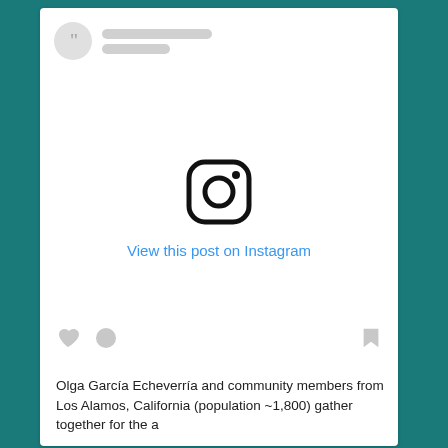[Figure (screenshot): Instagram embed card showing profile avatar placeholder with quotation mark, blurred username bars, Instagram logo icon, 'View this post on Instagram' link in blue, heart and comment icons, and a caption beginning with 'Olga García Echeverría and community members from Los Alamos, California (population ~1,800) gather together for the a']
Olga García Echeverría and community members from Los Alamos, California (population ~1,800) gather together for the a